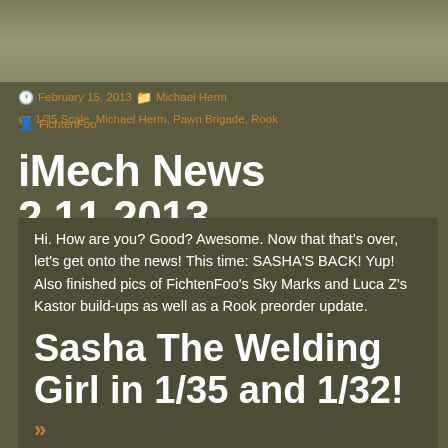[Figure (photo): Top image banner, faded brownish-green background]
February 15, 2013   Michael Herm   1/35 Scale, Michael Herm, Pawn Brigade, Rook
FichtenFoo
iMech News 2.11.2013
Hi. How are you? Good? Awesome. Now that that's over, let's get onto the news! This time: SASHA'S BACK! Yup! Also finished pics of FichtenFoo's Sky Marks and Luca Z's Kastor build-ups as well as a Rook preorder update.
Sasha The Welding Girl in 1/35 and 1/32!
»
[singlepic id=942 w=420 h= float=]